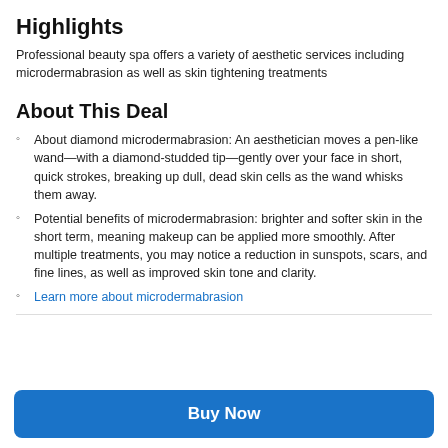Highlights
Professional beauty spa offers a variety of aesthetic services including microdermabrasion as well as skin tightening treatments
About This Deal
About diamond microdermabrasion: An aesthetician moves a pen-like wand—with a diamond-studded tip—gently over your face in short, quick strokes, breaking up dull, dead skin cells as the wand whisks them away.
Potential benefits of microdermabrasion: brighter and softer skin in the short term, meaning makeup can be applied more smoothly. After multiple treatments, you may notice a reduction in sunspots, scars, and fine lines, as well as improved skin tone and clarity.
Learn more about microdermabrasion